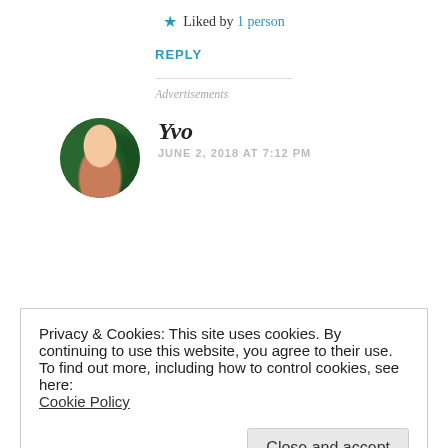★ Liked by 1 person
REPLY
Advertisements
Yvo
JUNE 2, 2018 AT 7:12 PM
Privacy & Cookies: This site uses cookies. By continuing to use this website, you agree to their use.
To find out more, including how to control cookies, see here:
Cookie Policy
Close and accept
★ Liked by 2 people